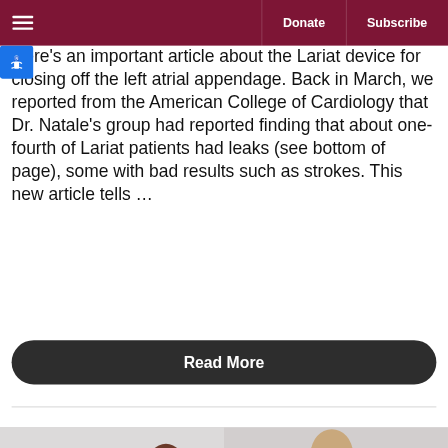Donate | Subscribe
Here's an important article about the Lariat device for closing off the left atrial appendage. Back in March, we reported from the American College of Cardiology that Dr. Natale's group had reported finding that about one-fourth of Lariat patients had leaks (see bottom of page), some with bad results such as strokes. This new article tells …
Read More
[Figure (photo): Bottom portion of page showing a photo of a woman and an elderly man, with a heart icon visible]